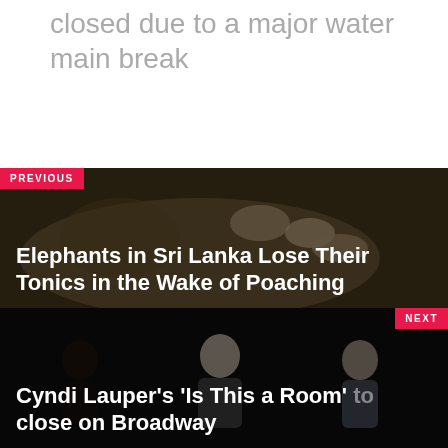Bloor Street in Toronto is temporarily closed due to a major water main break
[Figure (photo): Dark photo showing hands touching an elephant, with PREVIOUS label overlay]
Elephants in Sri Lanka Lose Their Tonics in the Wake of Poaching
[Figure (photo): Dark photo showing three people on stage, with NEXT label overlay]
Cyndi Lauper's 'Is This a Room' to close on Broadway